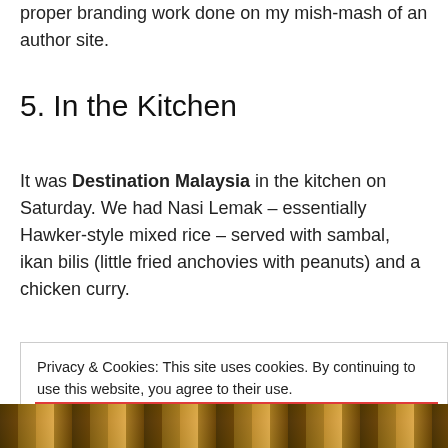proper branding work done on my mish-mash of an author site.
5. In the Kitchen
It was Destination Malaysia in the kitchen on Saturday. We had Nasi Lemak – essentially Hawker-style mixed rice – served with sambal, ikan bilis (little fried anchovies with peanuts) and a chicken curry.
Privacy & Cookies: This site uses cookies. By continuing to use this website, you agree to their use.
To find out more, including how to control cookies, see here: Cookie Policy
CLOSE AND ACCEPT
[Figure (photo): Bottom strip showing a partial photo of food (nasi lemak dish)]